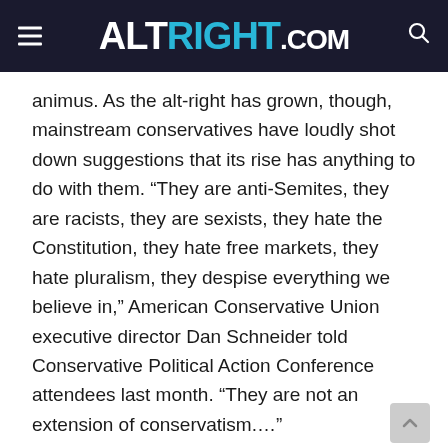ALTRIGHT.COM
animus. As the alt-right has grown, though, mainstream conservatives have loudly shot down suggestions that its rise has anything to do with them. “They are anti-Semites, they are racists, they are sexists, they hate the Constitution, they hate free markets, they hate pluralism, they despise everything we believe in,” American Conservative Union executive director Dan Schneider told Conservative Political Action Conference attendees last month. “They are not an extension of conservatism.…”